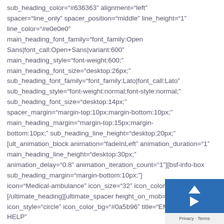sub_heading_color="#636363" alignment="left" spacer="line_only" spacer_position="middle" line_height="1" line_color="#e0e0e0" main_heading_font_family="font_family:Open Sans|font_call:Open+Sans|variant:600" main_heading_style="font-weight:600;" main_heading_font_size="desktop:26px;" sub_heading_font_family="font_family:Lato|font_call:Lato" sub_heading_style="font-weight:normal;font-style:normal;" sub_heading_font_size="desktop:14px;" spacer_margin="margin-top:10px;margin-bottom:10px;" main_heading_margin="margin-top:15px;margin-bottom:10px;" sub_heading_line_height="desktop:20px;" [ult_animation_block animation="fadeInLeft" animation_duration="1" main_heading_line_height="desktop:30px;" animation_delay="0.8" animation_iteration_count="1"][bsf-info-box sub_heading_margin="margin-bottom:10px;"] icon="Medical-ambulance" icon_size="32" icon_color="#ffffff" [/ultimate_heading][ultimate_spacer height_on_mob="70"] icon_style="circle" icon_color_bg="#0a5b96" title="EMERGENCY HELP" pos="left" title_font="font_family:Open Sans|font_call:Open" title_font_style="font-weight:700;" title_font_size="18" title_font_line_height="27"
[Figure (screenshot): Blue overlay box with upward arrow icon and play/chevron icon, with Privacy - Terms bar at bottom right corner of the page]